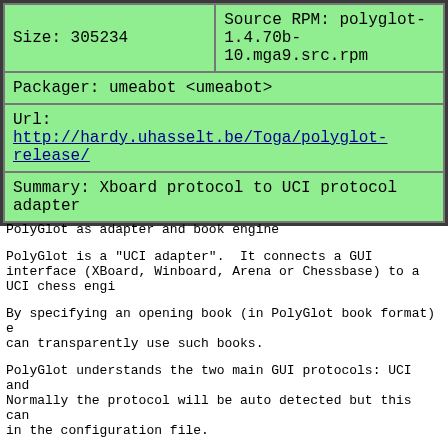| Size: 305234 | Source RPM: polyglot-1.4.70b-10.mga9.src.rpm |
| Packager: umeabot <umeabot> |  |
| Url: http://hardy.uhasselt.be/Toga/polyglot-release/ |  |
| Summary: Xboard protocol to UCI protocol adapter |  |
PolyGlot as adapter and book engine
PolyGlot is a "UCI adapter".  It connects a GUI interface (XBoard, Winboard, Arena or Chessbase) to a UCI chess engine.
By specifying an opening book (in PolyGlot book format) engines can transparently use such books.
PolyGlot understands the two main GUI protocols: UCI and XBoard. Normally the protocol will be auto detected but this can be overridden in the configuration file.
In xboard mode PolyGlot fully translates between the xboard and uci protocols.  In addition it tries to solve known problems with protocol adapters.  For instance, it detects and reports draws by the 50-move rule, repetition, etc ... It also supports Chess960.
When in UCI mode PolyGlot mostly passes commands from the GUI to the engine and vice versa.